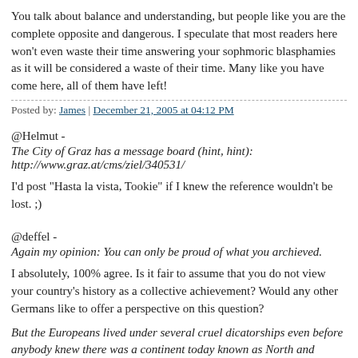You talk about balance and understanding, but people like you are the complete opposite and dangerous. I speculate that most readers here won't even waste their time answering your sophmoric blasphamies as it will be considered a waste of their time. Many like you have come here, all of them have left!
Posted by: James | December 21, 2005 at 04:12 PM
@Helmut -
The City of Graz has a message board (hint, hint):
http://www.graz.at/cms/ziel/340531/
I'd post "Hasta la vista, Tookie" if I knew the reference wouldn't be lost. ;)
@deffel -
Again my opinion: You can only be proud of what you archieved.
I absolutely, 100% agree. Is it fair to assume that you do not view your country's history as a collective achievement? Would any other Germans like to offer a perspective on this question?
But the Europeans lived under several cruel dicatorships even before anybody knew there was a continent today known as North and Southamerica.
That comment's a bit Eurocentric. The North and South Americans were ve